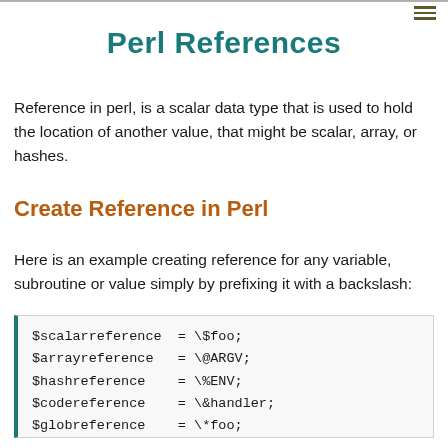Perl References
Reference in perl, is a scalar data type that is used to hold the location of another value, that might be scalar, array, or hashes.
Create Reference in Perl
Here is an example creating reference for any variable, subroutine or value simply by prefixing it with a backslash:
$scalarreference  = \$foo;
$arrayreference   = \@ARGV;
$hashreference    = \%ENV;
$codereference    = \&handler;
$globreference    = \*foo;